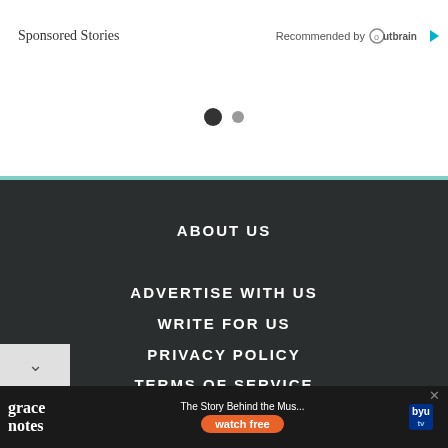Sponsored Stories
Recommended by Outbrain
[Figure (other): Pagination dots: one large filled circle and one smaller filled circle]
ABOUT US
ADVERTISE WITH US
WRITE FOR US
PRIVACY POLICY
TERMS OF SERVICE
[Figure (other): Advertisement banner: Grace Notes - The Story Behind the Music, watch free, BYU TV]